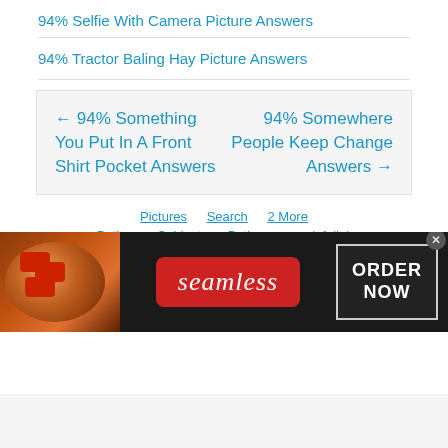94% Selfie With Camera Picture Answers
94% Tractor Baling Hay Picture Answers
← 94% Something You Put In A Front Shirt Pocket Answers    94% Somewhere People Keep Change Answers →
Pictures   Search   2 More   Bathroom Cabinets   Bathrooms   infolinks
[Figure (photo): Seamless food delivery advertisement banner showing pizza image on left, red Seamless logo in center, and ORDER NOW button on right, on dark background]